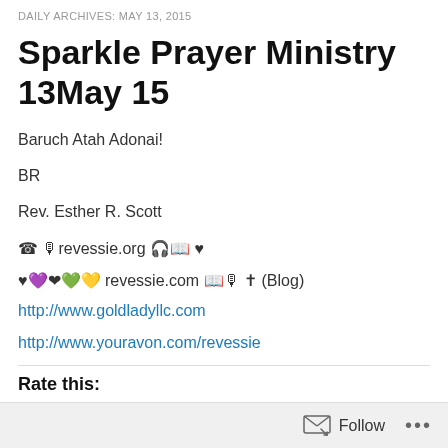DAILY ARCHIVES: MAY 13, 2015
Sparkle Prayer Ministry 13May 15
Baruch Atah Adonai!
BR
Rev. Esther R. Scott
☎ 🎙 revessie.org 🎧 📖 ♥
♥ 💜 ❤ 💚 💛 revessie.com 📖 🎙 ✝ (Blog)
http://www.goldladyllc.com
http://www.youravon.com/revessie
Rate this: